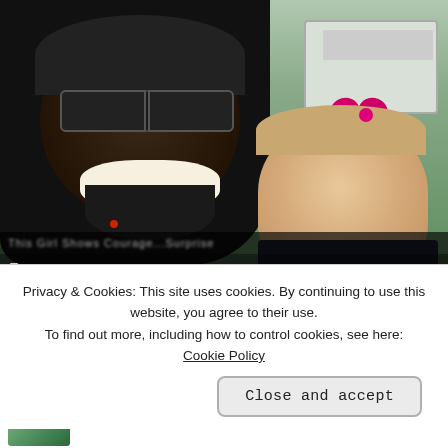[Figure (photo): Photo of a smiling man wearing sunglasses and a black cap, with a young girl wearing a pink bow, posing together outdoors near a white vehicle with green grass in the background. A video player control bar is visible at the bottom of the image.]
Privacy & Cookies: This site uses cookies. By continuing to use this website, you agree to their use.
To find out more, including how to control cookies, see here: Cookie Policy
Close and accept
Realizes Pitbull Had Her